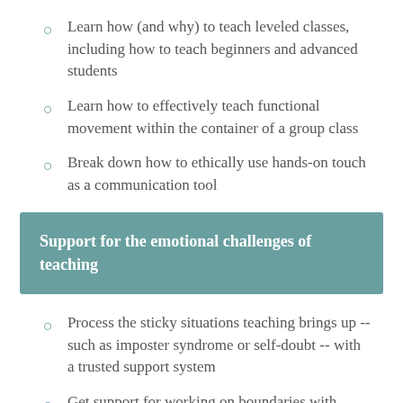Learn how (and why) to teach leveled classes, including how to teach beginners and advanced students
Learn how to effectively teach functional movement within the container of a group class
Break down how to ethically use hands-on touch as a communication tool
Support for the emotional challenges of teaching
Process the sticky situations teaching brings up -- such as imposter syndrome or self-doubt -- with a trusted support system
Get support for working on boundaries with